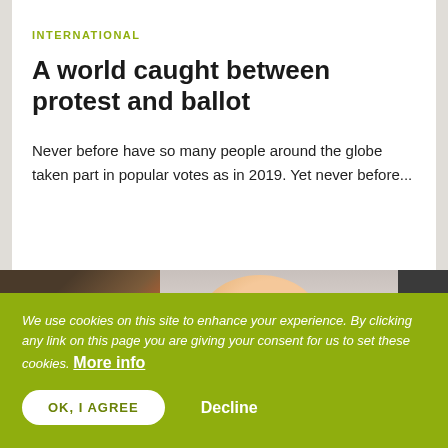INTERNATIONAL
A world caught between protest and ballot
Never before have so many people around the globe taken part in popular votes as in 2019. Yet never before...
[Figure (photo): Photo strip showing people, including a smiling Asian woman, partially visible]
We use cookies on this site to enhance your experience. By clicking any link on this page you are giving your consent for us to set these cookies. More info
OK, I AGREE  Decline